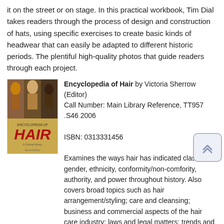it on the street or on stage. In this practical workbook, Tim Dial takes readers through the process of design and construction of hats, using specific exercises to create basic kinds of headwear that can easily be adapted to different historic periods. The plentiful high-quality photos that guide readers through each project.
[Figure (photo): Book cover of Encyclopedia of Hair showing multiple people with various hairstyles and the title HAIR in large red letters]
Encyclopedia of Hair by Victoria Sherrow (Editor) Call Number: Main Library Reference, TT957 .S46 2006 ISBN: 0313331456 Examines the ways hair has indicated class, gender, ethnicity, conformity/non-comfority, authority, and power throughout history. Also covers broad topics such as hair arrangement/styling; care and cleansing; business and commercial aspects of the hair care industry; laws and legal matters; trends and trendsetters; and health and science including the search for a cure to baldness; and diseases and disorders related to hair.
[Figure (photo): Book cover of Hats: status, style, and glamour with bold white HATS text on dark blue background with wave imagery]
Hats: status, style, and glamour by Colin McDowell Call Number: Art Library, GT2110.M44 1992